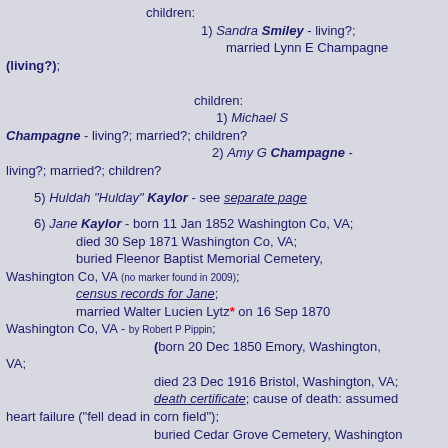children: 1) Sandra Smiley - living?; married Lynn E Champagne (living?); children: 1) Michael S Champagne - living?; married?; children? 2) Amy G Champagne - living?; married?; children?
5) Huldah "Hulday" Kaylor - see separate page
6) Jane Kaylor - born 11 Jan 1852 Washington Co, VA; died 30 Sep 1871 Washington Co, VA; buried Fleenor Baptist Memorial Cemetery, Washington Co, VA (no marker found in 2009); census records for Jane; married Walter Lucien Lytz* on 16 Sep 1870 Washington Co, VA - by Robert P Pippin; (born 20 Dec 1850 Emory, Washington, VA; died 23 Dec 1916 Bristol, Washington, VA; death certificate; cause of death: assumed heart failure ("fell dead in corn field"); buried Cedar Grove Cemetery, Washington